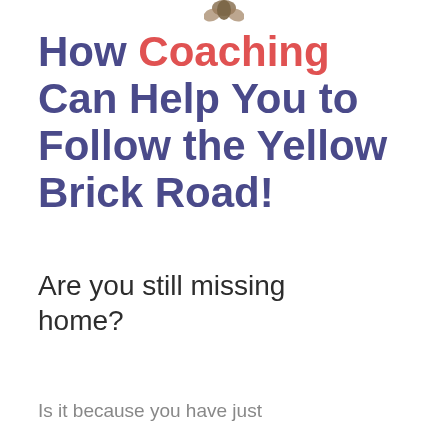[Figure (illustration): Small decorative icon/logo at the top center of the page, partially visible]
How Coaching Can Help You to Follow the Yellow Brick Road!
Are you still missing home?
Is it because you have just